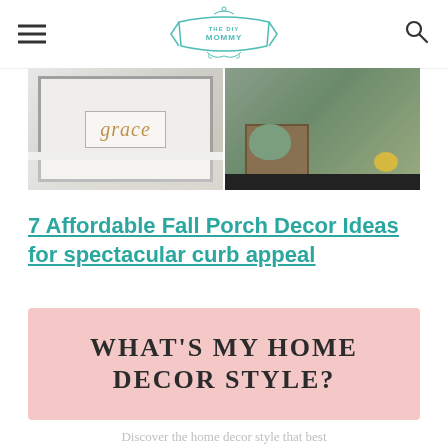The DIY Mommy
[Figure (photo): Two-panel hero image: left panel shows a framed sign with cursive script on white background with fluffy texture; right panel shows a wooden crate with green and yellow pumpkins on a porch.]
7 Affordable Fall Porch Decor Ideas for spectacular curb appeal
[Figure (infographic): Pink banner/box with bold uppercase text reading 'WHAT'S MY HOME DECOR STYLE?']
Discover the home decor style that best fits your personality and lifestyle. This